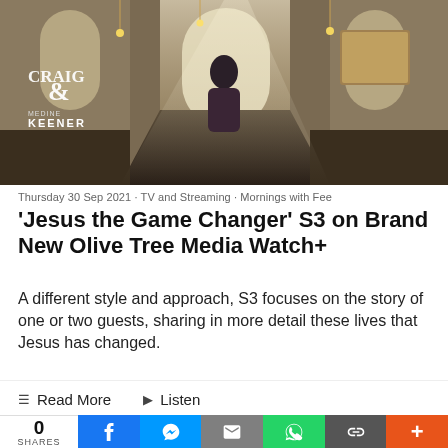[Figure (photo): Screenshot of a TV show set inside a church-like stone interior with arched windows. A man in a dark suit stands center stage. Text overlay on left reads 'CRAIG & MEDINE KEENER'. Warm lighting with pendant bulbs.]
Thursday 30 Sep 2021 · TV and Streaming · Mornings with Fee
'Jesus the Game Changer' S3 on Brand New Olive Tree Media Watch+
A different style and approach, S3 focuses on the story of one or two guests, sharing in more detail these lives that Jesus has changed.
☰ Read More  ▶ Listen
0 SHARES | Facebook | Messenger | Email | WhatsApp | Copy Link | More